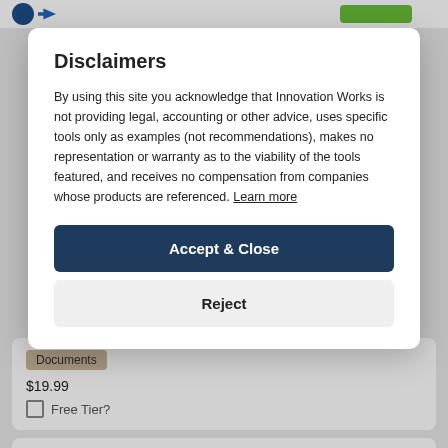Innovation Works header with logo and green button
Disclaimers
By using this site you acknowledge that Innovation Works is not providing legal, accounting or other advice, uses specific tools only as examples (not recommendations), makes no representation or warranty as to the viability of the tools featured, and receives no compensation from companies whose products are referenced. Learn more
Accept & Close
Reject
Documents
$19.99
Free Tier?
Verified Market Research